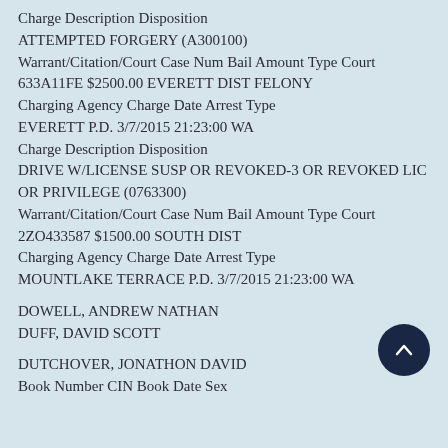Charge Description Disposition
ATTEMPTED FORGERY (A300100)
Warrant/Citation/Court Case Num Bail Amount Type Court
633A11FE $2500.00 EVERETT DIST FELONY
Charging Agency Charge Date Arrest Type
EVERETT P.D. 3/7/2015 21:23:00 WA
Charge Description Disposition
DRIVE W/LICENSE SUSP OR REVOKED-3 OR REVOKED LIC OR PRIVILEGE (0763300)
Warrant/Citation/Court Case Num Bail Amount Type Court
2ZO433587 $1500.00 SOUTH DIST
Charging Agency Charge Date Arrest Type
MOUNTLAKE TERRACE P.D. 3/7/2015 21:23:00 WA
DOWELL, ANDREW NATHAN
DUFF, DAVID SCOTT
DUTCHOVER, JONATHON DAVID
Book Number CIN Book Date Sex